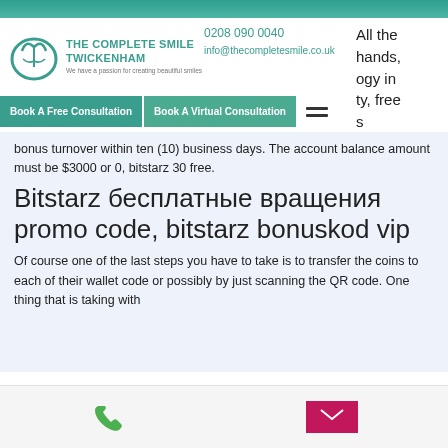[Figure (logo): The Complete Smile Twickenham dental clinic logo with teal tooth icon]
0208 090 0040
info@thecompletesmile.co.uk
All the hands, ogy in ty, free s
Real times
Book A Free Consultation
Book A Virtual Consultation
bonus turnover within ten (10) business days. The account balance amount must be $3000 or 0, bitstarz 30 free.
Bitstarz бесплатные вращения promo code, bitstarz bonuskod vip
Of course one of the last steps you have to take is to transfer the coins to each of their wallet code or possibly by just scanning the QR code. One thing that is taking with